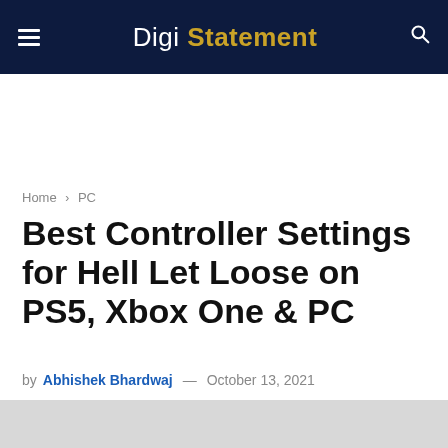Digi Statement
Home › PC
Best Controller Settings for Hell Let Loose on PS5, Xbox One & PC
by Abhishek Bhardwaj — October 13, 2021
[Figure (photo): Image placeholder / article thumbnail at bottom of page]